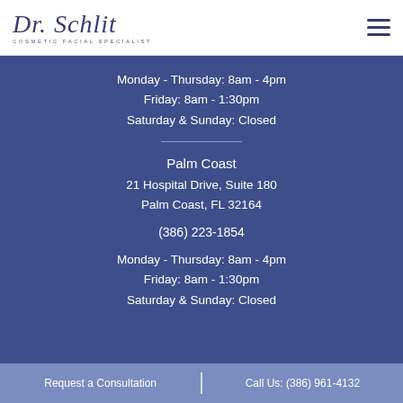[Figure (logo): Dr. Schlit Cosmetic Facial Specialist logo with stylized script text]
Monday - Thursday: 8am - 4pm
Friday: 8am - 1:30pm
Saturday & Sunday: Closed
Palm Coast
21 Hospital Drive, Suite 180
Palm Coast, FL 32164
(386) 223-1854
Monday - Thursday: 8am - 4pm
Friday: 8am - 1:30pm
Saturday & Sunday: Closed
Request a Consultation | Call Us: (386) 961-4132